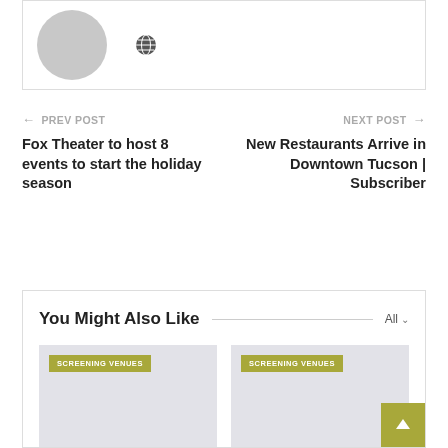[Figure (illustration): User avatar placeholder (gray silhouette on white card) with a globe icon to the right]
← PREV POST
Fox Theater to host 8 events to start the holiday season
NEXT POST →
New Restaurants Arrive in Downtown Tucson | Subscriber
You Might Also Like
[Figure (photo): Gray placeholder image with 'SCREENING VENUES' tag — first card]
The Personal locations fo...
[Figure (photo): Gray placeholder image with 'SCREENING VENUES' tag — second card]
Tokyo Film Festival...